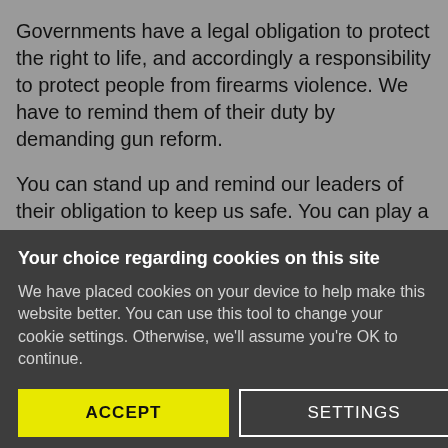Governments have a legal obligation to protect the right to life, and accordingly a responsibility to protect people from firearms violence. We have to remind them of their duty by demanding gun reform.
You can stand up and remind our leaders of their obligation to keep us safe. You can play a crucial role in campaigning and protesting against gun violence.
Your choice regarding cookies on this site
We have placed cookies on your device to help make this website better. You can use this tool to change your cookie settings. Otherwise, we'll assume you're OK to continue.